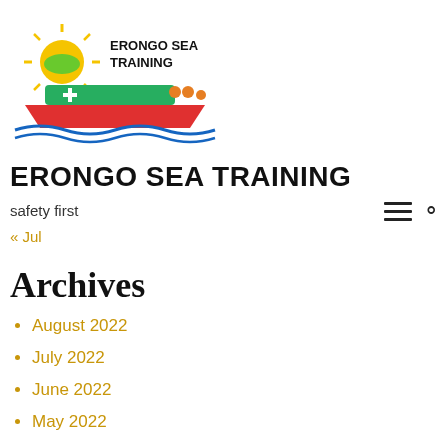[Figure (logo): Erongo Sea Training logo: a stylized boat with a sun, with the text 'ERONGO SEA TRAINING' next to it]
ERONGO SEA TRAINING
safety first
« Jul
Archives
August 2022
July 2022
June 2022
May 2022